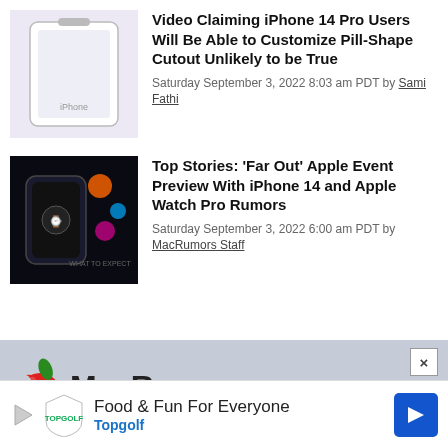[Figure (photo): Thumbnail image showing an iPhone with a pill-shaped cutout, light purple/grey background]
Video Claiming iPhone 14 Pro Users Will Be Able to Customize Pill-Shape Cutout Unlikely to be True
Saturday September 3, 2022 8:03 am PDT by Sami Fathi
[Figure (photo): Thumbnail image showing a dark Apple Watch against a black background with colorful graphic elements]
Top Stories: 'Far Out' Apple Event Preview With iPhone 14 and Apple Watch Pro Rumors
Saturday September 3, 2022 6:00 am PDT by MacRumors Staff
[Figure (logo): MacRumors logo — red apple with green leaf and bite taken out, with 'MacRumors' text in bold]
[Figure (infographic): Topgolf advertisement banner: 'Food & Fun For Everyone' with Topgolf logo and blue arrow navigation icon]
MacRumors ... interested